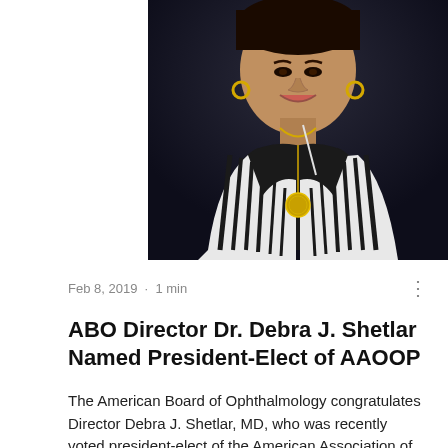[Figure (photo): Portrait photo of a smiling woman wearing a black and white striped blazer, black top, gold hoop earrings, and a gold coin pendant necklace. Dark background.]
Feb 8, 2019  ·  1 min
ABO Director Dr. Debra J. Shetlar Named President-Elect of AAOOP
The American Board of Ophthalmology congratulates Director Debra J. Shetlar, MD, who was recently voted president-elect of the American Association of